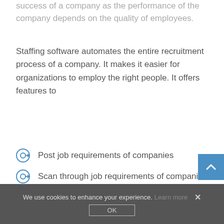success of a company as the performance of the company depends on the quality of employees.
Staffing software automates the entire recruitment process of a company. It makes it easier for organizations to employ the right people. It offers features to
Post job requirements of companies
Scan through job requirements of companies
Collate candidate profiles
Interact with candidates, evaluate them and rank them
Complete the hiring process for candidates
Manage onboarding for employees
We use cookies to enhance your experience. Learn more ✕  OK